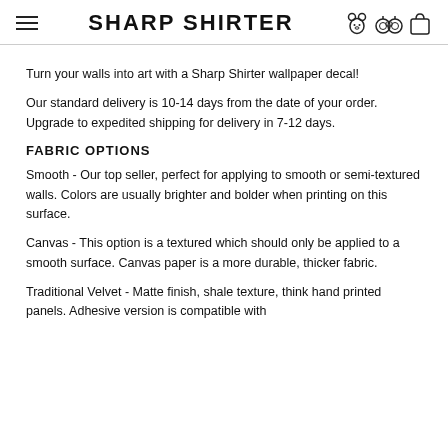SHARP SHIRTER
Turn your walls into art with a Sharp Shirter wallpaper decal!
Our standard delivery is 10-14 days from the date of your order. Upgrade to expedited shipping for delivery in 7-12 days.
FABRIC OPTIONS
Smooth - Our top seller, perfect for applying to smooth or semi-textured walls. Colors are usually brighter and bolder when printing on this surface.
Canvas - This option is a textured which should only be applied to a smooth surface. Canvas paper is a more durable, thicker fabric.
Traditional Velvet - Matte finish, shale texture, think hand printed panels. Adhesive version is compatible with...